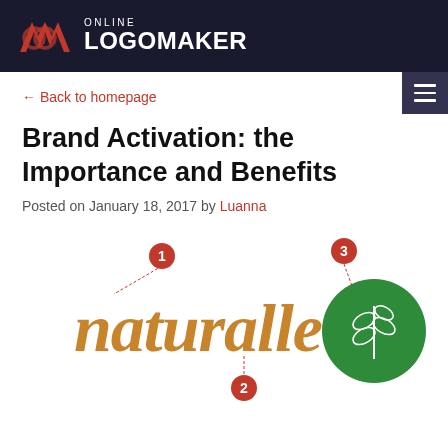ONLINE LOGOMAKER
← Back to homepage
Brand Activation: the Importance and Benefits
Posted on January 18, 2017 by Luanna
[Figure (logo): Naturalle brand logo with numbered callouts 1, 2, 3. The word 'naturalle' in golden/brown serif font, with a green circle containing a leaf/wheat icon. Red numbered circles mark: 1 (top left of text), 2 (bottom center), 3 (top right near green circle).]